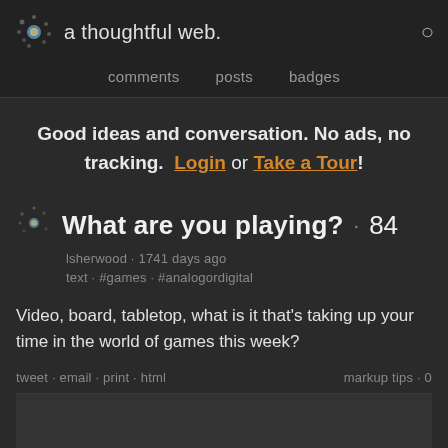a thoughtful web.
comments · posts · badges
Good ideas and conversation. No ads, no tracking. Login or Take a Tour!
What are you playing? · 84
lsherwood · 1741 days ago
text · #games · #analogordigital
Video, board, tabletop, what is it that's taking up your time in the world of games this week?
tweet · email · print · html   markup tips · 0